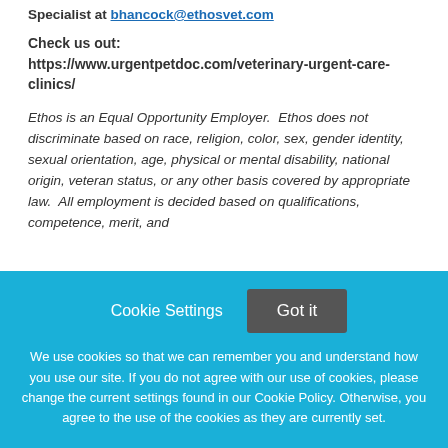Specialist at bhancock@ethosvet.com
Check us out: https://www.urgentpetdoc.com/veterinary-urgent-care-clinics/
Ethos is an Equal Opportunity Employer. Ethos does not discriminate based on race, religion, color, sex, gender identity, sexual orientation, age, physical or mental disability, national origin, veteran status, or any other basis covered by appropriate law. All employment is decided based on qualifications, competence, merit, and
Cookie Settings  Got it
We use cookies so that we can remember you and understand how you use our site. If you do not agree with our use of cookies, please change the current settings found in our Cookie Policy. Otherwise, you agree to the use of the cookies as they are currently set.